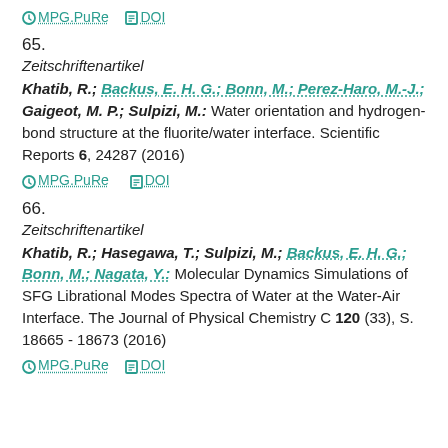MPG.PuRe  DOI
65.
Zeitschriftenartikel
Khatib, R.; Backus, E. H. G.; Bonn, M.; Perez-Haro, M.-J.; Gaigeot, M. P.; Sulpizi, M.: Water orientation and hydrogen-bond structure at the fluorite/water interface. Scientific Reports 6, 24287 (2016)
MPG.PuRe  DOI
66.
Zeitschriftenartikel
Khatib, R.; Hasegawa, T.; Sulpizi, M.; Backus, E. H. G.; Bonn, M.; Nagata, Y.: Molecular Dynamics Simulations of SFG Librational Modes Spectra of Water at the Water-Air Interface. The Journal of Physical Chemistry C 120 (33), S. 18665 - 18673 (2016)
MPG.PuRe  DOI